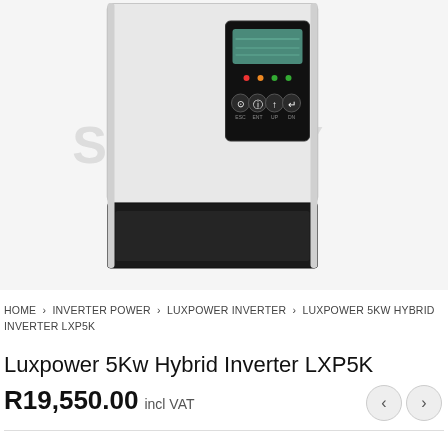[Figure (photo): Product image of Luxpower 5Kw Hybrid Inverter LXP5K. A white rectangular inverter unit with a black control panel on the upper right showing an LCD display and 5 circular buttons. The bottom third of the unit is black. A watermark reading 'STANLEY' is overlaid on the image.]
HOME > INVERTER POWER > LUXPOWER INVERTER > LUXPOWER 5KW HYBRID INVERTER LXP5K
Luxpower 5Kw Hybrid Inverter LXP5K
R19,550.00 incl VAT